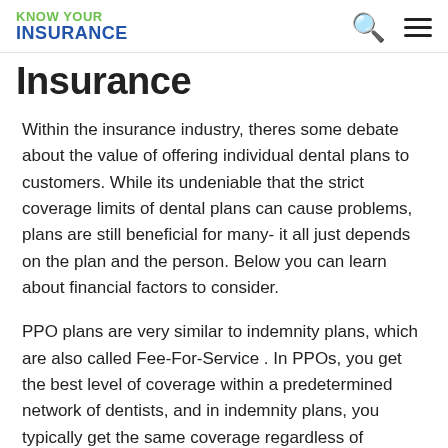KNOW YOUR INSURANCE
Insurance
Within the insurance industry, theres some debate about the value of offering individual dental plans to customers. While its undeniable that the strict coverage limits of dental plans can cause problems, plans are still beneficial for many- it all just depends on the plan and the person. Below you can learn about financial factors to consider.
PPO plans are very similar to indemnity plans, which are also called Fee-For-Service . In PPOs, you get the best level of coverage within a predetermined network of dentists, and in indemnity plans, you typically get the same coverage regardless of network. Both plan types may have a network of preferred providers available, however. In indemnity